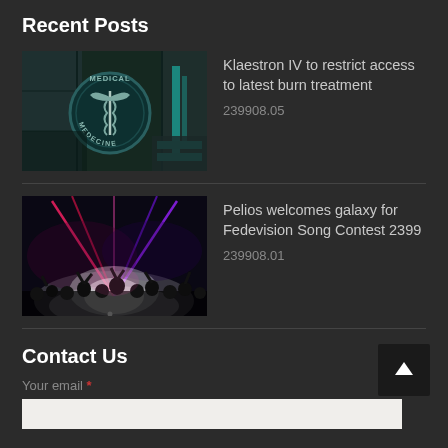Recent Posts
[Figure (photo): Medical facility interior with a circular emblem reading 'MEDICAL MEDECINE' with caduceus symbol, teal/green color scheme in a sci-fi setting]
Klaestron IV to restrict access to latest burn treatment
239908.05
[Figure (photo): Concert scene with colorful laser lights (pink, purple, red) and silhouettes of crowd with hands raised, bright white stage glow]
Pelios welcomes galaxy for Fedevision Song Contest 2399
239908.01
Contact Us
Your email *